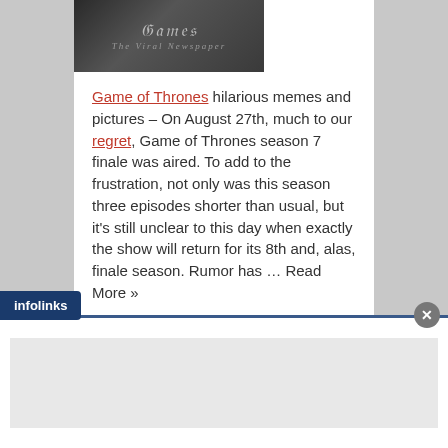[Figure (photo): Dark promotional image for Game of Thrones]
Game of Thrones hilarious memes and pictures – On August 27th, much to our regret, Game of Thrones season 7 finale was aired. To add to the frustration, not only was this season three episodes shorter than usual, but it's still unclear to this day when exactly the show will return for its 8th and, alas, finale season. Rumor has … Read More »
Hurricane Irma memes – Some of the best (or
[Figure (other): Infolinks advertisement overlay at bottom of page]